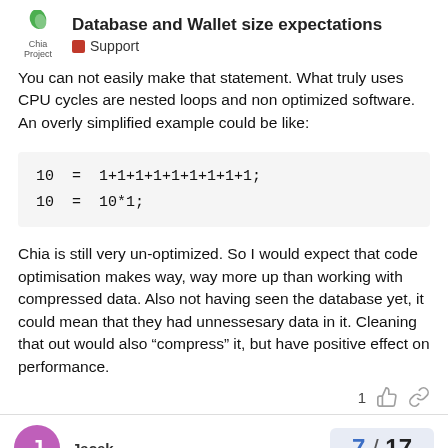Database and Wallet size expectations | Support
You can not easily make that statement. What truly uses CPU cycles are nested loops and non optimized software.
An overly simplified example could be like:
Chia is still very un-optimized. So I would expect that code optimisation makes way, way more up than working with compressed data. Also not having seen the database yet, it could mean that they had unnessesary data in it. Cleaning that out would also “compress” it, but have positive effect on performance.
1
Jacek
7 / 17